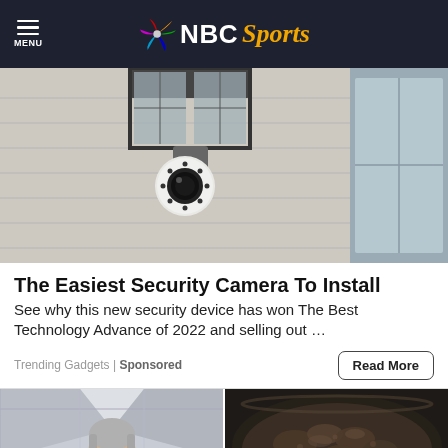NBC Sports
[Figure (photo): Security camera mounted under eave of house with black metal lantern light fixture above it. White dome security camera with LED ring facing outward. Siding visible in background.]
The Easiest Security Camera To Install
See why this new security device has won The Best Technology Advance of 2022 and selling out …
Trending Gadgets | Sponsored
[Figure (photo): Left: Older grey-haired man with glasses in hallway. Right: Dark cooked ground meat in a pan.]